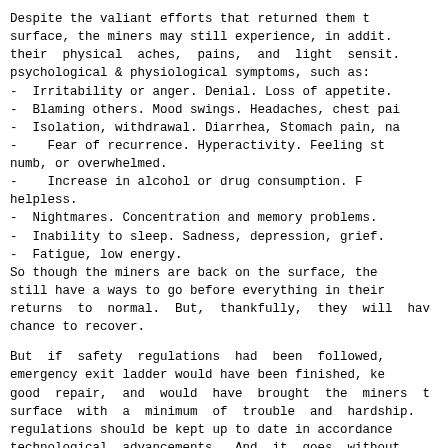Despite the valiant efforts that returned them to the surface, the miners may still experience, in addition to their physical aches, pains, and light sensitivity, psychological & physiological symptoms, such as:
-  Irritability or anger. Denial. Loss of appetite.
-  Blaming others. Mood swings. Headaches, chest pain.
-  Isolation, withdrawal. Diarrhea, Stomach pain, nausea.
-    Fear of recurrence. Hyperactivity. Feeling stunned, numb, or overwhelmed.
-    Increase in alcohol or drug consumption. Feeling helpless.
-  Nightmares. Concentration and memory problems.
-  Inability to sleep. Sadness, depression, grief.
-  Fatigue, low energy.
So though the miners are back on the surface, they still have a ways to go before everything in their lives returns to normal. But, thankfully, they will have a chance to recover.
But if safety regulations had been followed, the emergency exit ladder would have been finished, kept in good repair, and would have brought the miners to the surface with a minimum of trouble and hardship. Safety regulations should be kept up to date in accordance with technological advancements. And it goes without saying that safety equipment and passages should be finished